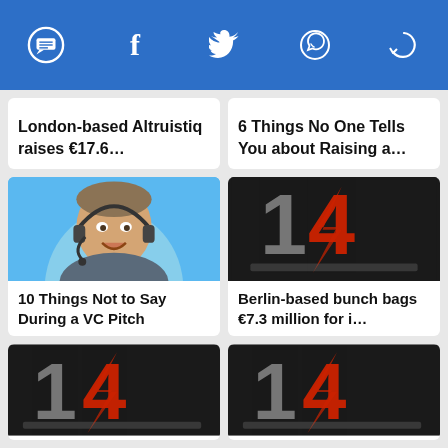Social share icons: SMS, Facebook, Twitter, WhatsApp, Other
London-based Altruistiq raises €17.6…
6 Things No One Tells You about Raising a…
[Figure (photo): Man with headset on blue background]
10 Things Not to Say During a VC Pitch
[Figure (logo): Fearless dark logo with red and grey number 14]
Berlin-based bunch bags €7.3 million for i…
[Figure (logo): Fearless dark logo with red and grey number 14 (bottom left)]
[Figure (logo): Fearless dark logo with red and grey number 14 (bottom right)]